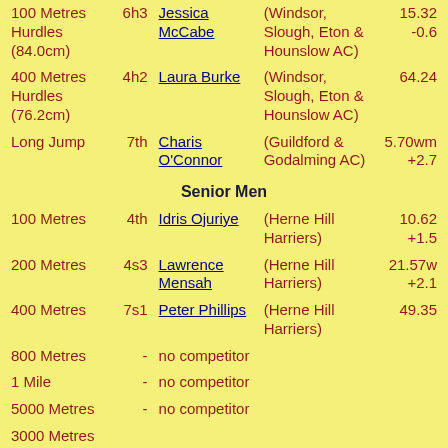| Event | Place | Athlete | Club | Result |
| --- | --- | --- | --- | --- |
| 100 Metres Hurdles (84.0cm) | 6h3 | Jessica McCabe | (Windsor, Slough, Eton & Hounslow AC) | 15.32 -0.6 |
| 400 Metres Hurdles (76.2cm) | 4h2 | Laura Burke | (Windsor, Slough, Eton & Hounslow AC) | 64.24 |
| Long Jump | 7th | Charis O'Connor | (Guildford & Godalming AC) | 5.70wm +2.7 |
|  | Senior Men |  |  |  |
| 100 Metres | 4th | Idris Ojuriye | (Herne Hill Harriers) | 10.62 +1.5 |
| 200 Metres | 4s3 | Lawrence Mensah | (Herne Hill Harriers) | 21.57w +2.1 |
| 400 Metres | 7s1 | Peter Phillips | (Herne Hill Harriers) | 49.35 |
| 800 Metres | - | no competitor |  |  |
| 1 Mile | - | no competitor |  |  |
| 5000 Metres | - | no competitor |  |  |
| 3000 Metres |  |  |  |  |